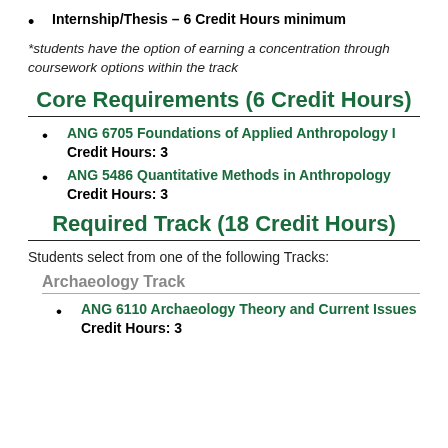Internship/Thesis – 6 Credit Hours minimum
*students have the option of earning a concentration through coursework options within the track
Core Requirements (6 Credit Hours)
ANG 6705 Foundations of Applied Anthropology I Credit Hours: 3
ANG 5486 Quantitative Methods in Anthropology Credit Hours: 3
Required Track (18 Credit Hours)
Students select from one of the following Tracks:
Archaeology Track
ANG 6110 Archaeology Theory and Current Issues Credit Hours: 3